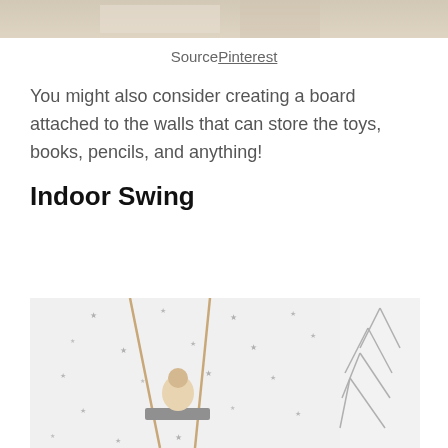[Figure (photo): Top portion of a photo showing a room interior, partially cropped]
Source Pinterest
You might also consider creating a board attached to the walls that can store the toys, books, pencils, and anything!
Indoor Swing
[Figure (photo): Photo of an indoor swing in a child's room with star-patterned walls, a child sitting on the swing, and geometric tree decorations on the right side]